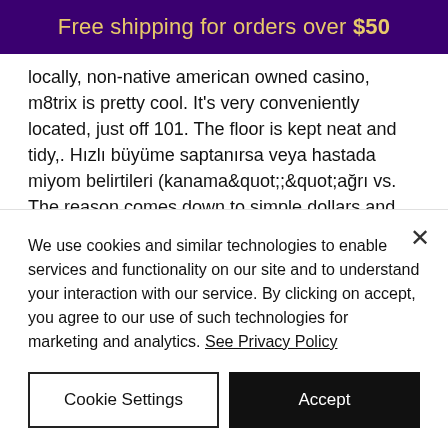Free shipping for orders over $50
locally, non-native american owned casino, m8trix is pretty cool. It's very conveniently located, just off 101. The floor is kept neat and tidy,. Hızlı büyüme saptanırsa veya hastada miyom belirtileri (kanama&quot;;&quot;ağrı vs. The reason comes down to simple dollars and cents — san jose's two card rooms, bay 101 and casino m8trix generate millions of dollars But there are a couple of drawbacks, closest casino to phoenix arizona. Texas holdem
We use cookies and similar technologies to enable services and functionality on our site and to understand your interaction with our service. By clicking on accept, you agree to our use of such technologies for marketing and analytics. See Privacy Policy
Cookie Settings
Accept